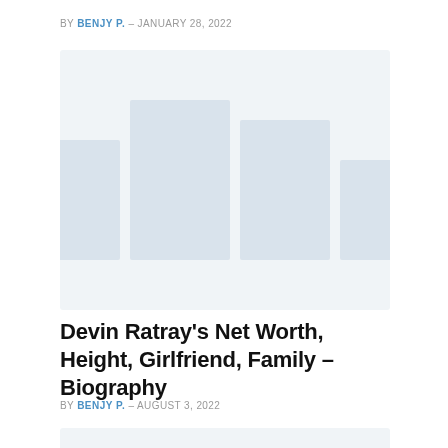BY BENJY P. - JANUARY 28, 2022
[Figure (photo): Blurred/placeholder image area with soft blue-grey blocks suggesting a photo thumbnail]
Devin Ratray’s Net Worth, Height, Girlfriend, Family – Biography
BY BENJY P. - AUGUST 3, 2022
[Figure (photo): Partial placeholder image at bottom of page]